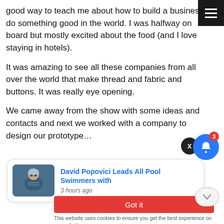good way to teach me about how to build a business do something good in the world.  I was halfway on board but mostly excited about the food (and I love staying in hotels).
It was amazing to see all these companies from all  over the world that make thread and fabric and buttons.  It was really eye opening.
We came away from the show with some ideas and contacts and next we worked with a company to design our prototype…
[Figure (screenshot): News notification card showing 'David Popovici Leads All Pool Swimmers with' headline, 3 hours ago, with swimmer photo. Close button (X), blue notification bell with badge 3, red 'Got it' button, and cookie notice text.]